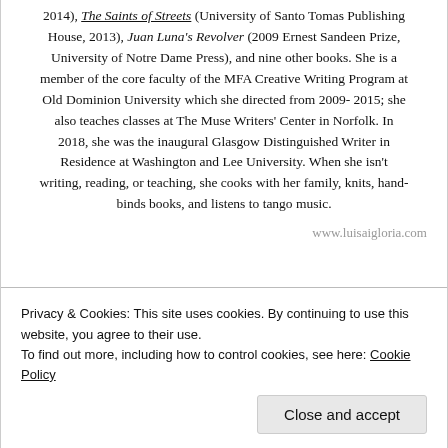2014), The Saints of Streets (University of Santo Tomas Publishing House, 2013), Juan Luna's Revolver (2009 Ernest Sandeen Prize, University of Notre Dame Press), and nine other books. She is a member of the core faculty of the MFA Creative Writing Program at Old Dominion University which she directed from 2009-2015; she also teaches classes at The Muse Writers' Center in Norfolk. In 2018, she was the inaugural Glasgow Distinguished Writer in Residence at Washington and Lee University. When she isn't writing, reading, or teaching, she cooks with her family, knits, hand-binds books, and listens to tango music.
www.luisaigloria.com
Privacy & Cookies: This site uses cookies. By continuing to use this website, you agree to their use.
To find out more, including how to control cookies, see here: Cookie Policy
Close and accept